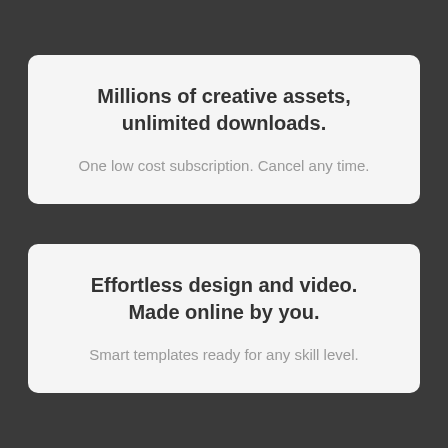Millions of creative assets, unlimited downloads.
One low cost subscription. Cancel any time.
Effortless design and video. Made online by you.
Smart templates ready for any skill level.